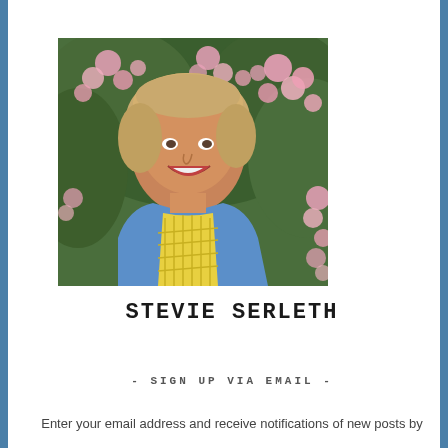[Figure (photo): Portrait photo of a smiling middle-aged woman with short blond hair, wearing a blue cardigan over a yellow gingham shirt, standing in front of pink flowering bushes and green foliage.]
STEVIE SERLETH
- SIGN UP VIA EMAIL -
Enter your email address and receive notifications of new posts by